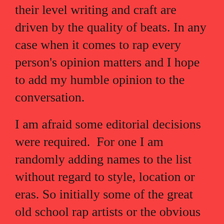their level writing and craft are driven by the quality of beats. In any case when it comes to rap every person's opinion matters and I hope to add my humble opinion to the conversation.
I am afraid some editorial decisions were required.  For one I am randomly adding names to the list without regard to style, location or eras. So initially some of the great old school rap artists or the obvious choices might not appear initially.  This allows some flexibility in introducing groups that I think everyone should have in their CD, Vinyl or MP3 collections.